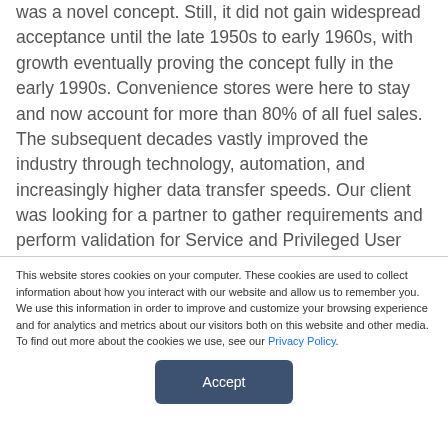was a novel concept. Still, it did not gain widespread acceptance until the late 1950s to early 1960s, with growth eventually proving the concept fully in the early 1990s. Convenience stores were here to stay and now account for more than 80% of all fuel sales. The subsequent decades vastly improved the industry through technology, automation, and increasingly higher data transfer speeds. Our client was looking for a partner to gather requirements and perform validation for Service and Privileged User accounts to
This website stores cookies on your computer. These cookies are used to collect information about how you interact with our website and allow us to remember you. We use this information in order to improve and customize your browsing experience and for analytics and metrics about our visitors both on this website and other media. To find out more about the cookies we use, see our Privacy Policy.